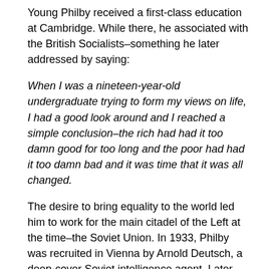Young Philby received a first-class education at Cambridge. While there, he associated with the British Socialists–something he later addressed by saying:
When I was a nineteen-year-old undergraduate trying to form my views on life, I had a good look around and I reached a simple conclusion–the rich had had it too damn good for too long and the poor had had it too damn bad and it was time that it was all changed.
The desire to bring equality to the world led him to work for the main citadel of the Left at the time–the Soviet Union. In 1933, Philby was recruited in Vienna by Arnold Deutsch, a deep-cover Soviet intelligence agent. Later, when accused of betrayal, Philby always calmly retorted that he remained true to his own convictions–and that this was more important than loyalty to his country.
Arnold Deutsch convinced Philby that, as a secret agent inside British counterintelligence, he would do far more good